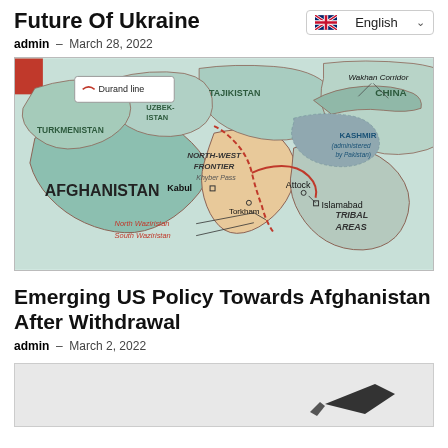Future Of Ukraine
admin – March 28, 2022
[Figure (map): Map showing the Afghanistan-Pakistan border region including Durand Line, neighboring countries Turkmenistan, Uzbekistan, Tajikistan, China; regions North-West Frontier, Kashmir (administered by Pakistan), Tribal Areas, North Waziristan, South Waziristan; cities Kabul, Torkham, Attock, Islamabad; Wakhan Corridor; Khyber Pass]
Emerging US Policy Towards Afghanistan After Withdrawal
admin – March 2, 2022
[Figure (photo): Partial bottom image, mostly white/light gray, partially visible]